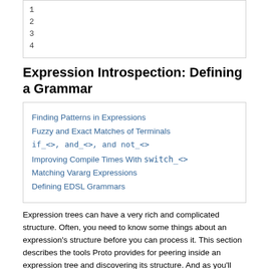[Figure (other): Code snippet box showing line numbers 1, 2, 3, 4]
Expression Introspection: Defining a Grammar
Finding Patterns in Expressions
Fuzzy and Exact Matches of Terminals
if_<>, and_<>, and not_<>
Improving Compile Times With switch_<>
Matching Vararg Expressions
Defining EDSL Grammars
Expression trees can have a very rich and complicated structure. Often, you need to know some things about an expression's structure before you can process it. This section describes the tools Proto provides for peering inside an expression tree and discovering its structure. And as you'll see in later sections, all the really interesting things you can do with Proto begin right here.
Finding Patterns in Expressions
Imagine your EDSL is a miniature I/O facility, with iostream operations that execute lazily. You might want expressions representing input